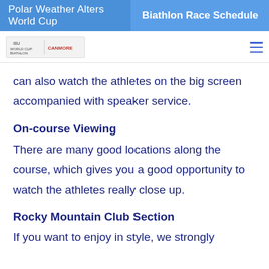Polar Weather Alters World Cup
Biathlon Race Schedule
[Figure (logo): IBU World Cup Biathlon Canmore event logo]
can also watch the athletes on the big screen accompanied with speaker service.
On-course Viewing
There are many good locations along the course, which gives you a good opportunity to watch the athletes really close up.
Rocky Mountain Club Section
If you want to enjoy in style, we strongly